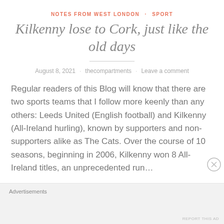NOTES FROM WEST LONDON · SPORT
Kilkenny lose to Cork, just like the old days
August 8, 2021 · thecompartments · Leave a comment
Regular readers of this Blog will know that there are two sports teams that I follow more keenly than any others: Leeds United (English football) and Kilkenny (All-Ireland hurling), known by supporters and non-supporters alike as The Cats. Over the course of 10 seasons, beginning in 2006, Kilkenny won 8 All-Ireland titles, an unprecedented run…
Continue reading
Advertisements